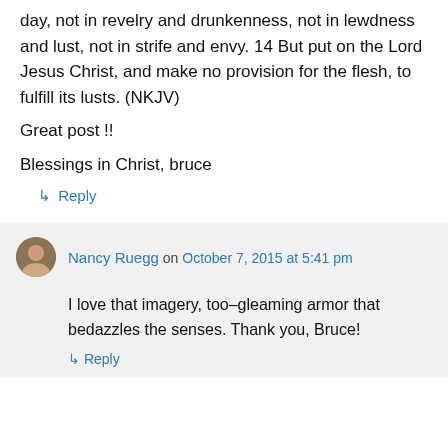day, not in revelry and drunkenness, not in lewdness and lust, not in strife and envy. 14 But put on the Lord Jesus Christ, and make no provision for the flesh, to fulfill its lusts. (NKJV)
Great post !!
Blessings in Christ, bruce
↳ Reply
Nancy Ruegg on October 7, 2015 at 5:41 pm
I love that imagery, too–gleaming armor that bedazzles the senses. Thank you, Bruce!
↳ Reply